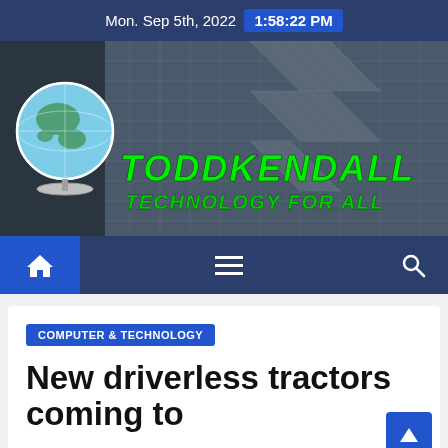Mon. Sep 5th, 2022   1:58:22 PM
[Figure (screenshot): ToddKendall Technology For All website banner with globe logo and green tech-style text on a dark building facade background]
[Figure (screenshot): Navigation bar with home icon button, hamburger menu, and search icon on dark blue background]
COMPUTER & TECHNOLOGY
New driverless tractors coming to